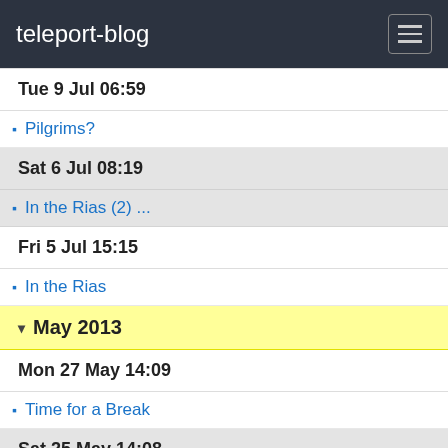teleport-blog
Tue 9 Jul 06:59
Pilgrims?
Sat 6 Jul 08:19
In the Rias (2) ...
Fri 5 Jul 15:15
In the Rias
May 2013
Mon 27 May 14:09
Time for a Break
Sat 25 May 14:08
The way out of the bay...
Wed 22 May 15:51
Santander
Across Biscay
Mon 20 May 17:51